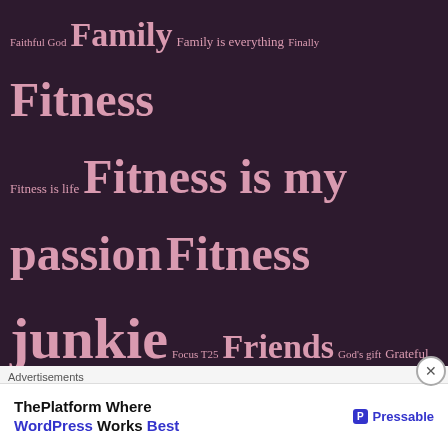[Figure (infographic): Tag cloud on dark purple background with pink text of various sizes, including tags: Faithful God, Family, Family is everything, Finally, Fitness, Fitness is life, Fitness is my passion, Fitness junkie, Focus T25, Friends, God's gift, Grateful, Gratitude, Happy Birthday, Honest, https://wonderseekersblog.com/, humble beginnings, Ifitumbuwa, Insanity workout, Kenya, Knitting, Longonot mountain, lovely, Max 30, Maya Angelou, memories, Morning runs, My favourite poet, Natural Hair, New Year, Phobia, Photo Challenge, Poet, Pray, Prayer, Prayers, Proudly Zambian, relaxed hair, Running, Running is my passion, Self care, Self love, ShaunT Fitness, Shaun T Rocks, Smile, Stormie Omartian, strength, Tea lover, Tea Masala, Thankful, There's always]
Advertisements
[Figure (other): Advertisement banner: ThePlatform Where WordPress Works Best — Pressable logo]